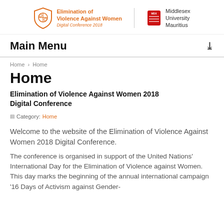[Figure (logo): Elimination of Violence Against Women Digital Conference 2018 logo with shield and Middlesex University Mauritius crest]
Main Menu
Home > Home
Home
Elimination of Violence Against Women 2018 Digital Conference
Category: Home
Welcome to the website of the Elimination of Violence Against Women 2018 Digital Conference.
The conference is organised in support of the United Nations' International Day for the Elimination of Violence against Women. This day marks the beginning of the annual international campaign '16 Days of Activism against Gender-